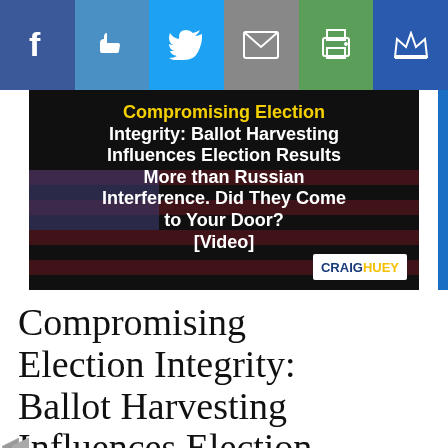[Figure (screenshot): Social media sharing toolbar with Facebook, Like, Twitter, Email, Print, and Crown buttons]
[Figure (screenshot): Thumbnail image with American flag background and article title text: 'Compromising Election Integrity: Ballot Harvesting Influences Election Results More than Russian Interference. Did They Come to Your Door? [Video]' with CraigHuey logo]
Compromising Election Integrity: Ballot Harvesting Influences Election